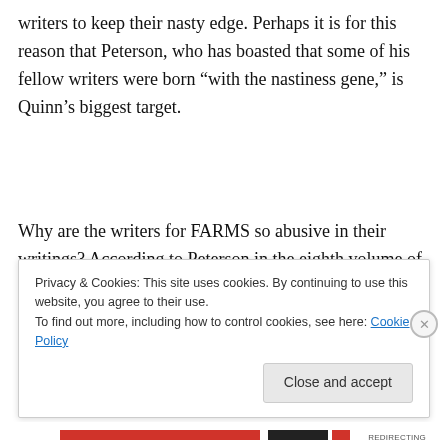writers to keep their nasty edge. Perhaps it is for this reason that Peterson, who has boasted that some of his fellow writers were born “with the nastiness gene,” is Quinn’s biggest target.
Why are the writers for FARMS so abusive in their writings? According to Peterson in the eighth volume of FARMS Review of Books, “We did not pick this fight with the Ch...
Privacy & Cookies: This site uses cookies. By continuing to use this website, you agree to their use.
To find out more, including how to control cookies, see here: Cookie Policy